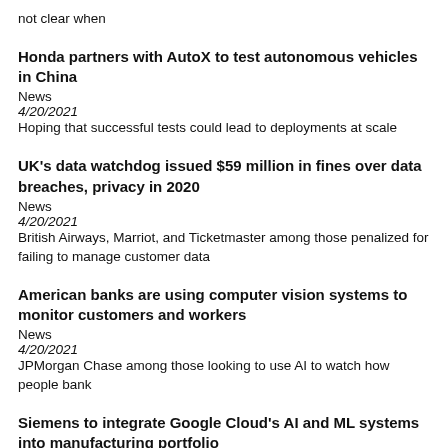not clear when
Honda partners with AutoX to test autonomous vehicles in China
News
4/20/2021
Hoping that successful tests could lead to deployments at scale
UK's data watchdog issued $59 million in fines over data breaches, privacy in 2020
News
4/20/2021
British Airways, Marriot, and Ticketmaster among those penalized for failing to manage customer data
American banks are using computer vision systems to monitor customers and workers
News
4/20/2021
JPMorgan Chase among those looking to use AI to watch how people bank
Siemens to integrate Google Cloud's AI and ML systems into manufacturing portfolio